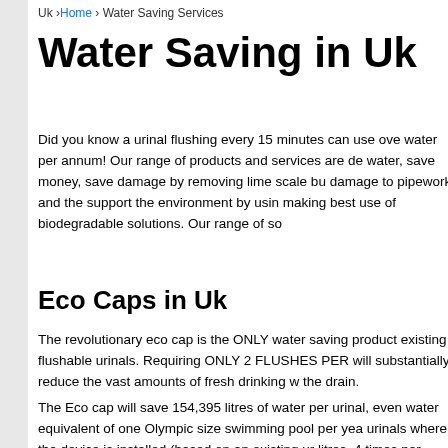Uk › Home › Water Saving Services
Water Saving in Uk
Did you know a urinal flushing every 15 minutes can use over water per annum! Our range of products and services are designed to save water, save money, save damage by removing lime scale build up that can cause damage to pipework and the support the environment by using and making best use of biodegradable solutions. Our range of so
Eco Caps in Uk
The revolutionary eco cap is the ONLY water saving product for existing flushable urinals. Requiring ONLY 2 FLUSHES PER will substantially reduce the vast amounts of fresh drinking water down the drain.
The Eco cap will save 154,395 litres of water per urinal, even water equivalent of one Olympic size swimming pool per yea urinals where the device is installed (based on an existing ur litres, 4 times per hour).